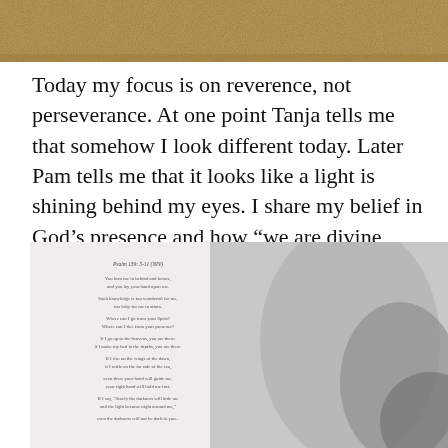[Figure (photo): Top portion of an outdoor photo showing dry golden/brown ground or hay texture]
Today my focus is on reverence, not perseverance. At one point Tanja tells me that somehow I look different today. Later Pam tells me that it looks like a light is shining behind my eyes. I share my belief in God’s presence and how “we are divine light” at circle time with the ladies – especially since some have so many questions…
[Figure (photo): Black and white photo of a hand holding open a book (Bible) showing Psalm 139:5-11 (NIV). The text visible includes: 'Psalm 139: 5-11 (NIV)', 'You hem me in behind and before, and you lay your hand upon me.', 'Such knowledge is too wonderful for me, too lofty for me to attain.', 'Where can I go from your Spirit? Where can I flee from your presence?', 'If I go up to the heavens, you are there; if I make my bed in the depths, you are there.', 'If I rise on the wings of the dawn, if I settle on the far side of the sea,', 'even there your hand will guide me, your right hand will hold me fast.', 'If I say, "Surely the darkness will hide me and the light become night around me,"', 'even the darkness will not be dark to you...']